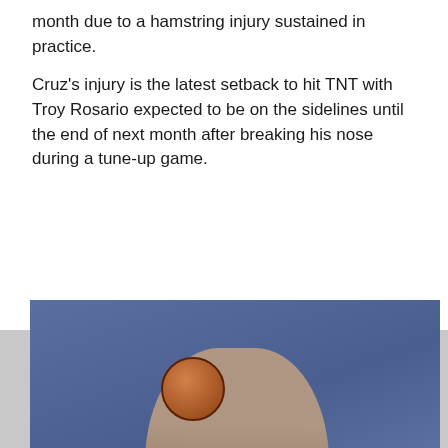month due to a hamstring injury sustained in practice.
Cruz's injury is the latest setback to hit TNT with Troy Rosario expected to be on the sidelines until the end of next month after breaking his nose during a tune-up game.
[Figure (photo): Basketball player wearing jersey number 22 with 'PULSE' branding in red and black uniform, holding a basketball above their head in a game setting. Arena seats filled with spectators visible in the background.]